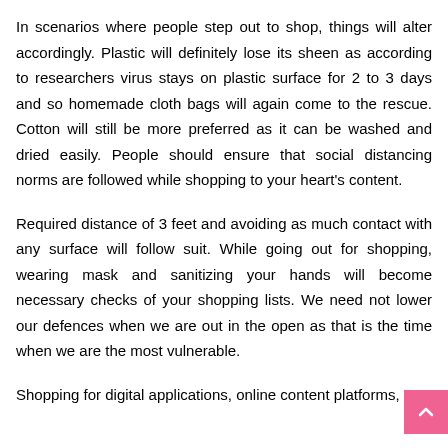In scenarios where people step out to shop, things will alter accordingly. Plastic will definitely lose its sheen as according to researchers virus stays on plastic surface for 2 to 3 days and so homemade cloth bags will again come to the rescue. Cotton will still be more preferred as it can be washed and dried easily. People should ensure that social distancing norms are followed while shopping to your heart's content.
Required distance of 3 feet and avoiding as much contact with any surface will follow suit. While going out for shopping, wearing mask and sanitizing your hands will become necessary checks of your shopping lists. We need not lower our defences when we are out in the open as that is the time when we are the most vulnerable.
Shopping for digital applications, online content platforms,